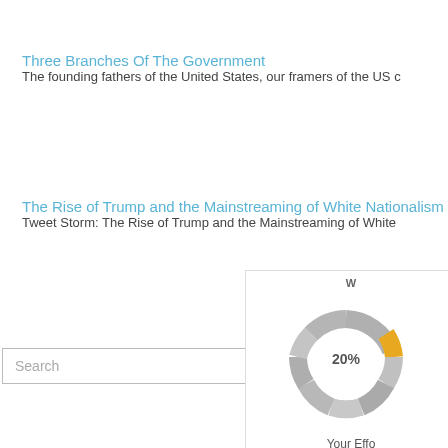Three Branches Of The Government
The founding fathers of the United States, our framers of the US c
The Rise of Trump and the Mainstreaming of White Nationalism
Tweet Storm: The Rise of Trump and the Mainstreaming of White
Search
[Figure (donut-chart): Donut chart showing 20% with orange and gray segments]